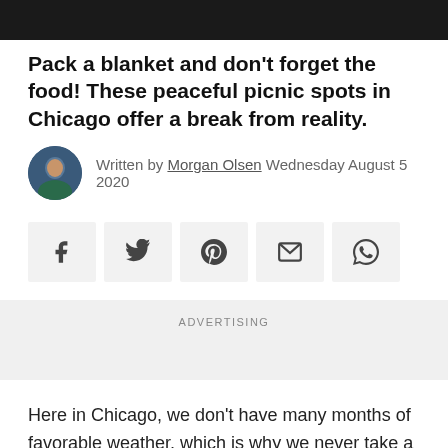Pack a blanket and don't forget the food! These peaceful picnic spots in Chicago offer a break from reality.
Written by Morgan Olsen Wednesday August 5 2020
[Figure (infographic): Social sharing buttons row: Facebook, Twitter, Pinterest, Email, WhatsApp]
ADVERTISING
Here in Chicago, we don't have many months of favorable weather, which is why we never take a beautiful day for